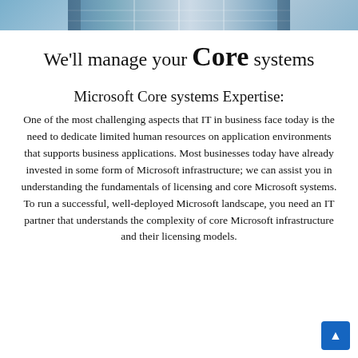[Figure (photo): Cropped photo of a building facade with glass grid panels, blue-grey tones]
We'll manage your Core systems
Microsoft Core systems Expertise:
One of the most challenging aspects that IT in business face today is the need to dedicate limited human resources on application environments that supports business applications. Most businesses today have already invested in some form of Microsoft infrastructure; we can assist you in understanding the fundamentals of licensing and core Microsoft systems. To run a successful, well-deployed Microsoft landscape, you need an IT partner that understands the complexity of core Microsoft infrastructure and their licensing models.